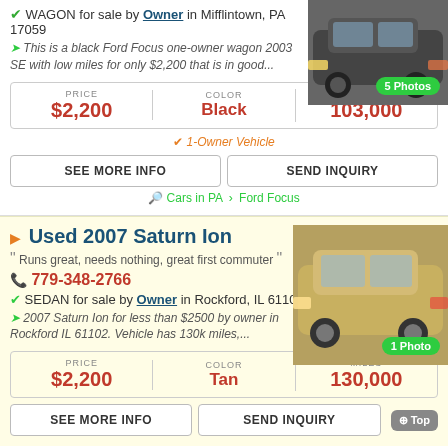WAGON for sale by Owner in Mifflintown, PA 17059
This is a black Ford Focus one-owner wagon 2003 SE with low miles for only $2,200 that is in good...
[Figure (photo): Black car photo with 5 Photos badge]
| PRICE | COLOR | MILES |
| --- | --- | --- |
| $2,200 | Black | 103,000 |
1-Owner Vehicle
SEE MORE INFO | SEND INQUIRY
Cars in PA > Ford Focus
Used 2007 Saturn Ion
Runs great, needs nothing, great first commuter
779-348-2766
SEDAN for sale by Owner in Rockford, IL 61102
2007 Saturn Ion for less than $2500 by owner in Rockford IL 61102. Vehicle has 130k miles,...
[Figure (photo): Tan Saturn Ion car photo with 1 Photo badge]
| PRICE | COLOR | MILES |
| --- | --- | --- |
| $2,200 | Tan | 130,000 |
SEE MORE INFO | SEND INQUIRY